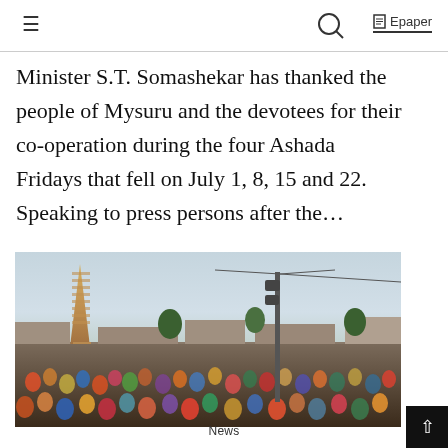≡  🔍  Epaper
Minister S.T. Somashekar has thanked the people of Mysuru and the devotees for their co-operation during the four Ashada Fridays that fell on July 1, 8, 15 and 22. Speaking to press persons after the...
[Figure (photo): Crowd of devotees gathered at a South Indian temple with a large gopura (tower) visible in the background, alongside a utility pole with loudspeakers attached.]
News